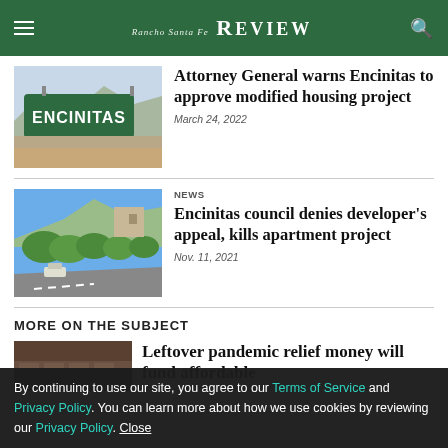Rancho Santa Fe REVIEW
[Figure (photo): Green Encinitas welcome sign with mountains in background]
Attorney General warns Encinitas to approve modified housing project
March 24, 2022
NEWS
[Figure (photo): Road with apartment buildings and green hills in Encinitas]
Encinitas council denies developer’s appeal, kills apartment project
Nov. 11, 2021
MORE ON THE SUBJECT
[Figure (photo): Partial image of building]
Leftover pandemic relief money will fund affordable
By continuing to use our site, you agree to our Terms of Service and Privacy Policy. You can learn more about how we use cookies by reviewing our Privacy Policy. Close